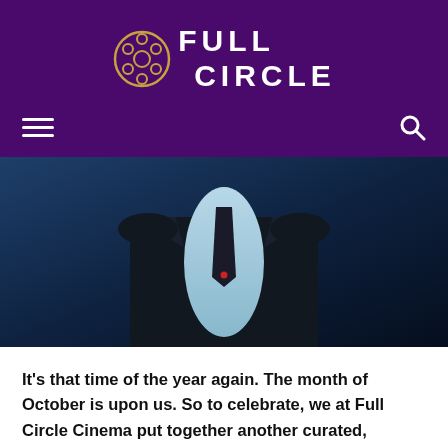[Figure (logo): Full Circle Cinema logo with film reel icon on purple background]
[Figure (photo): Dark cinematic photo of a person in a suit and tie with blue lighting]
It's that time of the year again. The month of October is upon us. So to celebrate, we at Full Circle Cinema put together another curated, month-long series with Screen Screams. This year, we will be checking our clocks as [...]